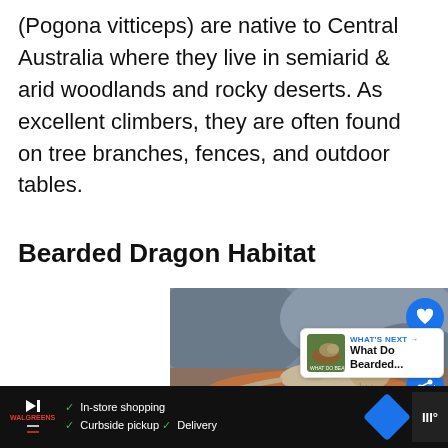(Pogona vitticeps) are native to Central Australia where they live in semiarid & arid woodlands and rocky deserts. As excellent climbers, they are often found on tree branches, fences, and outdoor tables.
Bearded Dragon Habitat
[Figure (photo): A bearded dragon lizard sitting on a red-brown log/branch with rocky background]
[Figure (infographic): Side UI controls: heart/like button (blue circle), like count 19, share button (blue circle)]
[Figure (infographic): What's Next card: thumbnail of bearded dragon article, label 'WHAT'S NEXT', text 'What Do Bearded...']
[Figure (infographic): Advertisement bar at bottom: play button, brand logo, checkmarks for In-store shopping, Curbside pickup, Delivery, blue diamond icon, weather widget]